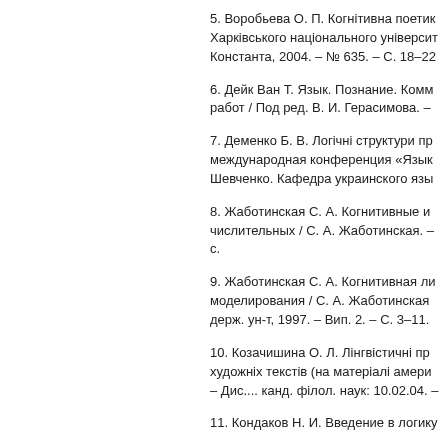5. Воробьева О. П. Когнітивна поетик Харківського національного університ Константа, 2004. – № 635. – С. 18–22
6. Дейк Ван Т. Язык. Познание. Комм работ / Под ред. В. И. Герасимова. –
7. Деменко Б. В. Логічні структури пр международная конференция «Язык Шевченко. Кафедра украинского язы
8. Жаботинская С. А. Когнитивные и числительных / С. А. Жаботинская. – с.
9. Жаботинская С. А. Когнитивная ли моделирования / С. А. Жаботинская держ. ун-т, 1997. – Вип. 2. – С. 3–11.
10. Козачишина О. Л. Лінгвістичні пр художніх текстів (на матеріалі амери – Дис.... канд. філол. наук: 10.02.04. –
11. Кондаков Н. И. Введение в логику